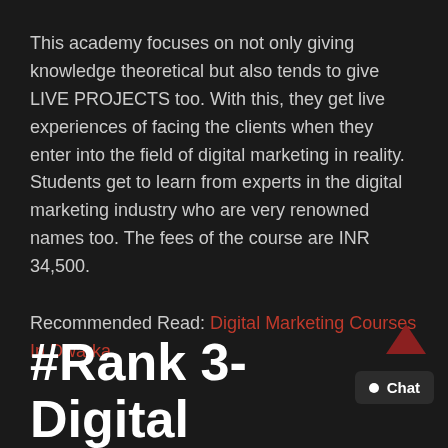This academy focuses on not only giving knowledge theoretical but also tends to give LIVE PROJECTS too. With this, they get live experiences of facing the clients when they enter into the field of digital marketing in reality. Students get to learn from experts in the digital marketing industry who are very renowned names too. The fees of the course are INR 34,500.
Recommended Read: Digital Marketing Courses In Dwarka
#Rank 3- Digital